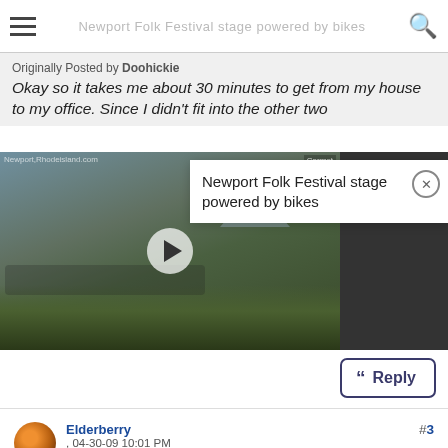Newport Folk Festival stage powered by bikes
Originally Posted by Doohickie
Okay so it takes me about 30 minutes to get from my house to my office. Since I didn't fit into the other two
[Figure (photo): Video thumbnail showing people with bikes at an outdoor festival. An overlay popup reads: 'Newport Folk Festival stage powered by bikes' with a close (x) button.]
Reply
Elderberry , 04-30-09 10:01 PM
Elemental Child

#3
4-5 miles, depending on the workplace. Usually takes me between 15 and 20 minutes. I really like this distance, 'cause I can extend it if I wanna on nice days, and it's pretty short when I've got a blizzard to contend with.